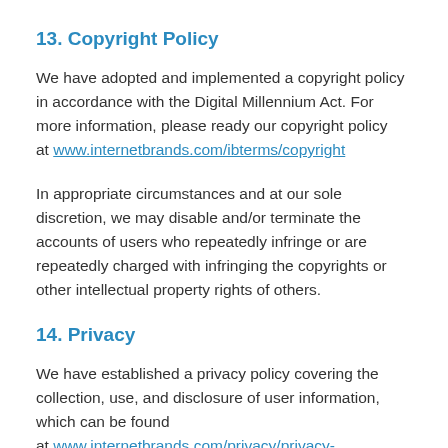13. Copyright Policy
We have adopted and implemented a copyright policy in accordance with the Digital Millennium Act. For more information, please ready our copyright policy at www.internetbrands.com/ibterms/copyright
In appropriate circumstances and at our sole discretion, we may disable and/or terminate the accounts of users who repeatedly infringe or are repeatedly charged with infringing the copyrights or other intellectual property rights of others.
14. Privacy
We have established a privacy policy covering the collection, use, and disclosure of user information, which can be found at www.internetbrands.com/privacy/privacy-